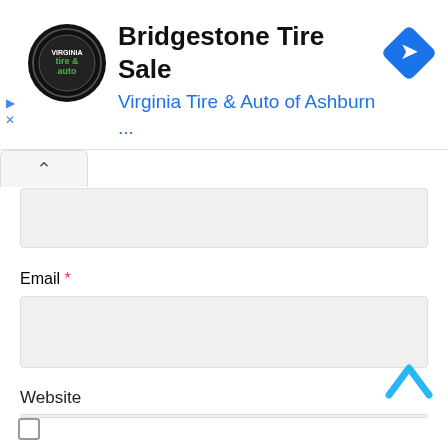[Figure (screenshot): Advertisement banner for Bridgestone Tire Sale by Virginia Tire & Auto of Ashburn, with circular logo, ad title, subtitle in blue, and a blue navigation arrow icon. Includes play and close ad control icons on the left.]
Email *
Website